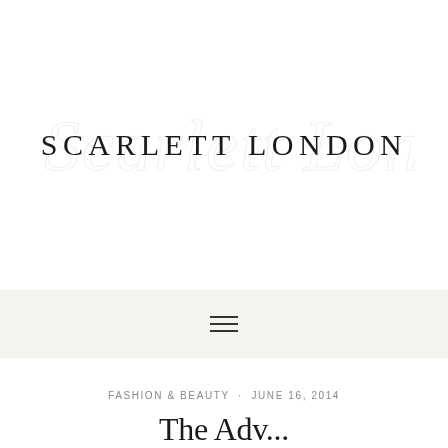[Figure (logo): Scarlett London blog logo with serif uppercase text 'SCARLETT LONDON' overlaid on a light grey script watermark of the same name]
[Figure (other): Navigation bar with hamburger menu icon (three horizontal lines) on a light beige/grey background]
FASHION & BEAUTY · JUNE 16, 2014
The Adv...